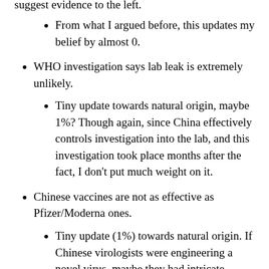From what I argued before, this updates my belief by almost 0.
WHO investigation says lab leak is extremely unlikely.
Tiny update towards natural origin, maybe 1%? Though again, since China effectively controls investigation into the lab, and this investigation took place months after the fact, I don't put much weight on it.
Chinese vaccines are not as effective as Pfizer/Moderna ones.
Tiny update (1%) towards natural origin. If Chinese virologists were engineering a novel virus, maybe they had intricate knowledge of